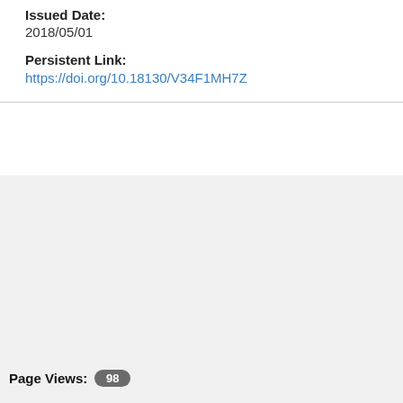Issued Date:
2018/05/01
Persistent Link:
https://doi.org/10.18130/V34F1MH7Z
Page Views: 98